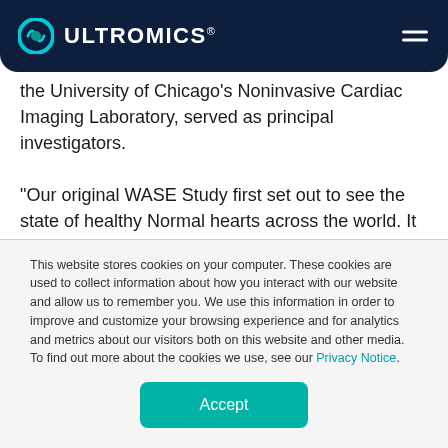ULTROMICS
the University of Chicago's Noninvasive Cardiac Imaging Laboratory, served as principal investigators.
"Our original WASE Study first set out to see the state of healthy Normal hearts across the world. It took us a few years to manually review all of that data," Dr. Asch said. "When the pandemic began, we knew that the clinical urgency to learn as much as possible about the
This website stores cookies on your computer. These cookies are used to collect information about how you interact with our website and allow us to remember you. We use this information in order to improve and customize your browsing experience and for analytics and metrics about our visitors both on this website and other media. To find out more about the cookies we use, see our Privacy Notice.
Accept